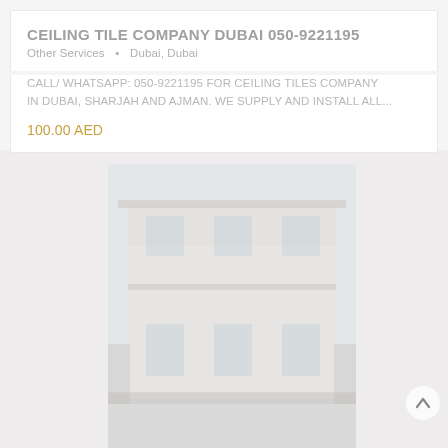CEILING TILE COMPANY DUBAI 050-9221195
Other Services  •  Dubai, Dubai
CALL/ WHATSAPP: 050-9221195 FOR CEILING TILES COMPANY IN DUBAI, SHARJAH AND AJMAN. WE SUPPLY AND INSTALL ALL...
100.00 AED
[Figure (photo): Photograph of a two-storey white residential building exterior, shown in washed-out/faded tones]